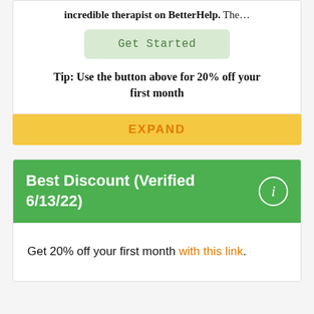incredible therapist on BetterHelp. The…
[Figure (other): Get Started button with light green background]
Tip: Use the button above for 20% off your first month
EXPAND
Best Discount (Verified 6/13/22)
Get 20% off your first month with this link.